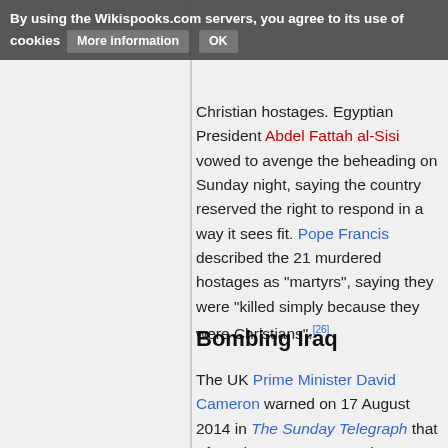By using the Wikispooks.com servers, you agree to its use of cookies   More information   OK
Christian hostages. Egyptian President Abdel Fattah al-Sisi vowed to avenge the beheading on Sunday night, saying the country reserved the right to respond in a way it sees fit. Pope Francis described the 21 murdered hostages as "martyrs", saying they were "killed simply because they were Christians".[26]
Bombing Iraq
The UK Prime Minister David Cameron warned on 17 August 2014 in The Sunday Telegraph that "If we do not act to stem the onslaught of this exceptionally